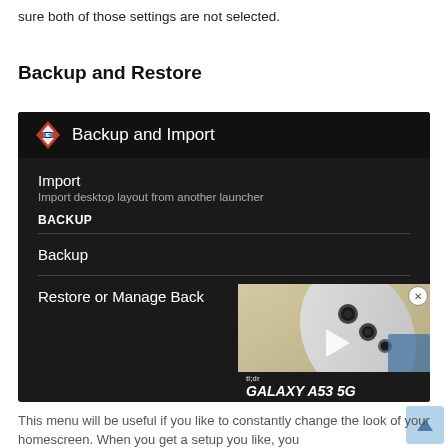sure both of those settings are not selected.
Backup and Restore
[Figure (screenshot): Screenshot of a launcher app's Backup and Import menu screen on a dark background, showing Import, Backup, and Restore or Manage Back options, with a video overlay thumbnail in the bottom-right corner showing a Samsung Galaxy A53 5G phone with a tl;dr label.]
This menu will be useful if you like to constantly change the look of your homescreen. When you get a setup you like, you